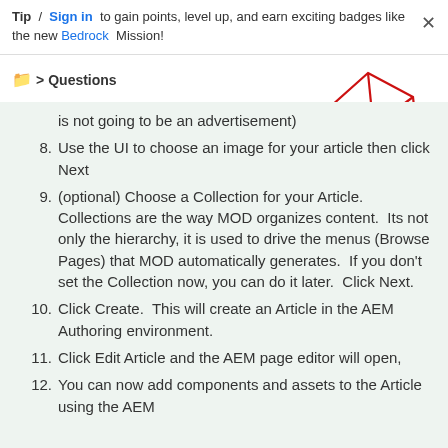Tip / Sign in to gain points, level up, and earn exciting badges like the new Bedrock Mission!
Questions
is not going to be an advertisement)
8. Use the UI to choose an image for your article then click Next
9. (optional) Choose a Collection for your Article.  Collections are the way MOD organizes content.  Its not only the hierarchy, it is used to drive the menus (Browse Pages) that MOD automatically generates.  If you don't set the Collection now, you can do it later.  Click Next.
10. Click Create.  This will create an Article in the AEM Authoring environment.
11. Click Edit Article and the AEM page editor will open,
12. You can now add components and assets to the Article using the AEM